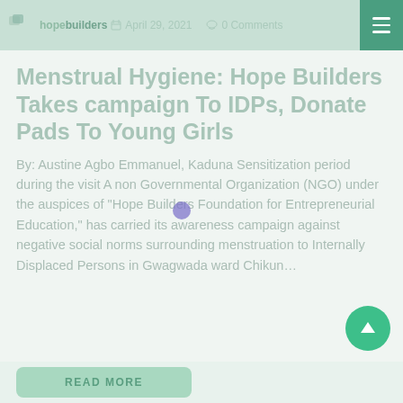April 29, 2021  0 Comments
Menstrual Hygiene: Hope Builders Takes campaign To IDPs, Donate Pads To Young Girls
By: Austine Agbo Emmanuel, Kaduna Sensitization period during the visit A non Governmental Organization (NGO) under the auspices of "Hope Builders Foundation for Entrepreneurial Education," has carried its awareness campaign against negative social norms surrounding menstruation to Internally Displaced Persons in Gwagwada ward Chikun…